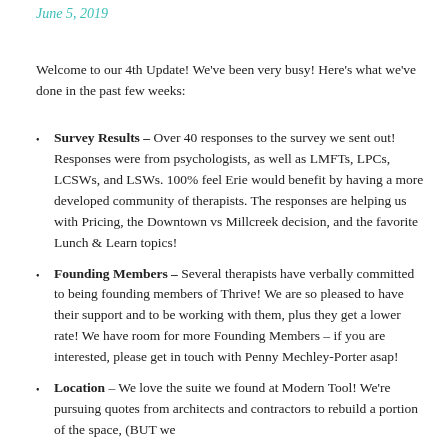June 5, 2019
Welcome to our 4th Update! We've been very busy! Here's what we've done in the past few weeks:
Survey Results – Over 40 responses to the survey we sent out! Responses were from psychologists, as well as LMFTs, LPCs, LCSWs, and LSWs. 100% feel Erie would benefit by having a more developed community of therapists. The responses are helping us with Pricing, the Downtown vs Millcreek decision, and the favorite Lunch & Learn topics!
Founding Members – Several therapists have verbally committed to being founding members of Thrive! We are so pleased to have their support and to be working with them, plus they get a lower rate! We have room for more Founding Members – if you are interested, please get in touch with Penny Mechley-Porter asap!
Location – We love the suite we found at Modern Tool! We're pursuing quotes from architects and contractors to rebuild a portion of the space, (BUT we